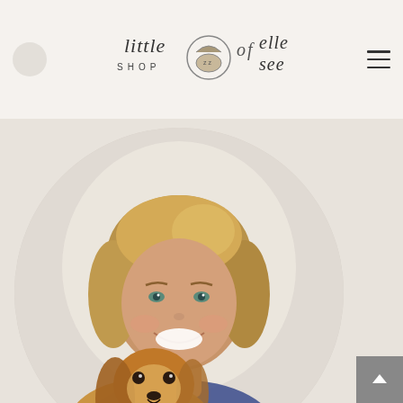little shop of elle see — navigation header with hamburger menu
[Figure (photo): A smiling young woman with blonde/light brown hair holding a small Cavalier King Charles Spaniel dog. The photo is cropped in a large circle shape. Background is light/white. Woman is wearing a floral top. Photo is set against a warm beige background.]